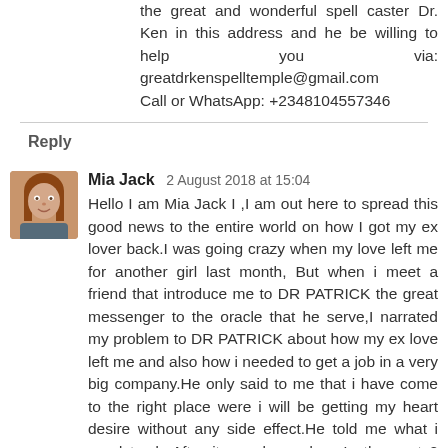the great and wonderful spell caster Dr. Ken in this address and he be willing to help you via: greatdrkenspelltemple@gmail.com
Call or WhatsApp: +2348104557346
Reply
Mia Jack  2 August 2018 at 15:04
[Figure (photo): Avatar photo of Mia Jack, a woman with reddish-brown hair]
Hello I am Mia Jack I ,I am out here to spread this good news to the entire world on how I got my ex lover back.I was going crazy when my love left me for another girl last month, But when i meet a friend that introduce me to DR PATRICK the great messenger to the oracle that he serve,I narrated my problem to DR PATRICK about how my ex love left me and also how i needed to get a job in a very big company.He only said to me that i have come to the right place were i will be getting my heart desire without any side effect.He told me what i need to do,After it was been done,In the next 2 days,My love called me on the phone and was saying sorry for living me before now and also in the next one week after my love called me to be pleading